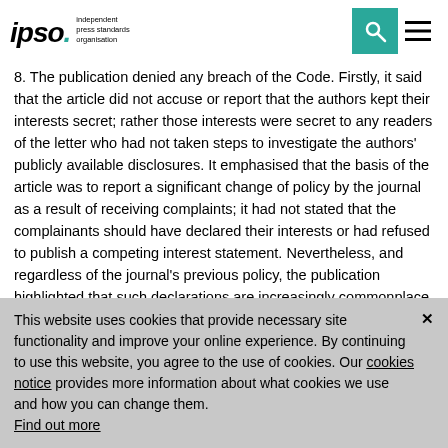ipso. independent press standards organisation
8. The publication denied any breach of the Code. Firstly, it said that the article did not accuse or report that the authors kept their interests secret; rather those interests were secret to any readers of the letter who had not taken steps to investigate the authors' publicly available disclosures. It emphasised that the basis of the article was to report a significant change of policy by the journal as a result of receiving complaints; it had not stated that the complainants should have declared their interests or had refused to publish a competing interest statement. Nevertheless, and regardless of the journal's previous policy, the publication highlighted that such declarations are increasingly commonplace and that there was presumably nothing stopping the complainants from declaring their interests. The publication also emphasised that the article did not assert that any of the signatories disclosed their...
This website uses cookies that provide necessary site functionality and improve your online experience. By continuing to use this website, you agree to the use of cookies. Our cookies notice provides more information about what cookies we use and how you can change them. Find out more